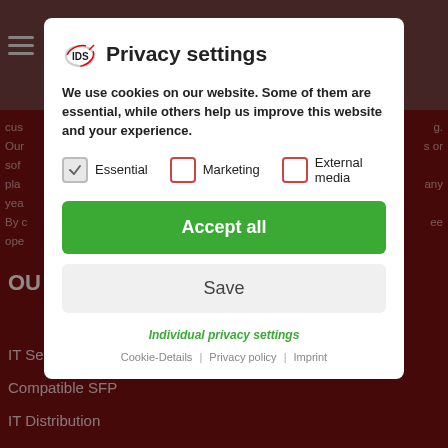[Figure (screenshot): Website background with dark red/maroon color, a grey top navigation bar, hamburger menu icon, partially visible page text, and bottom navigation links (IT Services, Compatible SFP, IT Distribution)]
Privacy settings
We use cookies on our website. Some of them are essential, while others help us improve this website and your experience.
Essential (checked)
Marketing (unchecked)
External media (unchecked)
Accept all
Save
Individual privacy settings
Cookie-Details | Privacy policy | Imprint